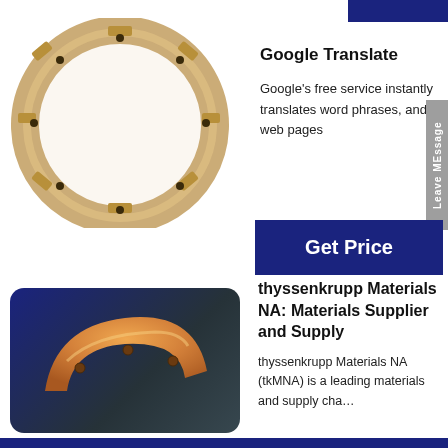[Figure (photo): Copper/bronze segmented ring component with bolt holes, viewed from front, white background]
Google Translate
Google's free service instantly translates words, phrases, and web pages
Get Price
[Figure (photo): Orange/copper curved arc segment component with bolt holes on dark blue gradient background, rounded rectangle frame]
thyssenkrupp Materials NA: Materials Supplier and Supply
thyssenkrupp Materials NA (tkMNA) is a leading materials and supply cha…